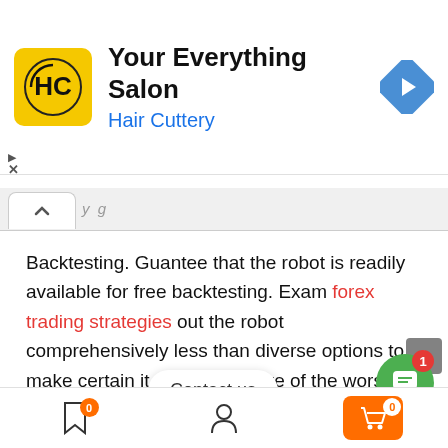[Figure (infographic): Advertisement banner for Hair Cuttery 'Your Everything Salon' with yellow HC logo, blue navigation arrow icon, and ad controls]
Backtesting. Guantee that the robot is readily available for free backtesting. Exam forex trading strategies out the robot comprehensively less than diverse options to make certain it might take care of the worst feasible sector problems.
The provides that look in this desk are from partnerships from which Investopedia receiv      on compensation may impact how and exactly where
[Figure (infographic): Bottom navigation bar with bookmark icon (badge 0), user/profile icon, and orange cart button (badge 0). Also shows 'Contact us' chat bubble and green chat button with red badge showing 1.]